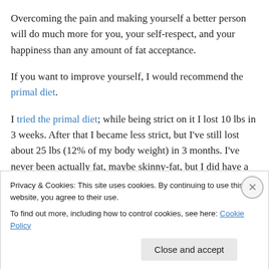Overcoming the pain and making yourself a better person will do much more for you, your self-respect, and your happiness than any amount of fat acceptance.
If you want to improve yourself, I would recommend the primal diet.
I tried the primal diet; while being strict on it I lost 10 lbs in 3 weeks. After that I became less strict, but I've still lost about 25 lbs (12% of my body weight) in 3 months. I've never been actually fat, maybe skinny-fat, but I did have a gut, it's quite noticeably shrunk.
Privacy & Cookies: This site uses cookies. By continuing to use this website, you agree to their use. To find out more, including how to control cookies, see here: Cookie Policy
Close and accept